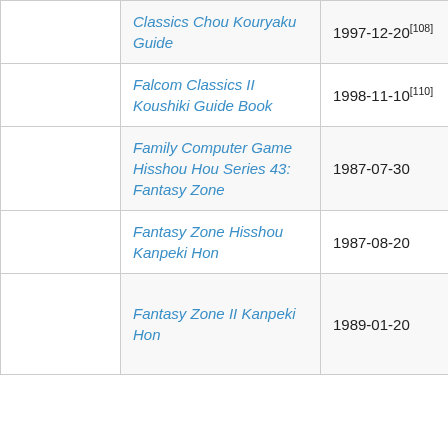| Title | Date | Price |  |
| --- | --- | --- | --- |
| Falcom Classics Chou Kouryaku Guide | 1997-12-20[108] | ¥1,400[109] |  |
| Falcom Classics II Koushiki Guide Book | 1998-11-10[110] | ¥1,100[111] |  |
| Family Computer Game Hisshou Hou Series 43: Fantasy Zone | 1987-07-30 | ¥380 |  |
| Fantasy Zone Hisshou Kanpeki Hon | 1987-08-20 | ¥330 |  |
| Fantasy Zone II Kanpeki Hon | 1989-01-20 | ¥380 |  |